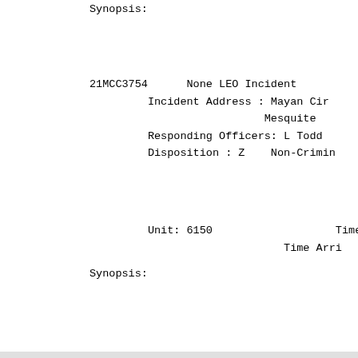Synopsis:
21MCC3754      None LEO Incident
         Incident Address : Mayan Cir
                           Mesquite
         Responding Officers: L Todd
         Disposition : Z    Non-Crimin
Unit: 6150                   Time Repo
                             Time Arri
Synopsis:
[Figure (screenshot): Advertisement banner: Walgreens ad showing 'Ashburn OPEN 8AM-10PM 20321 Susan Leslie Dr, Ashburn' with infolinks label and close button]